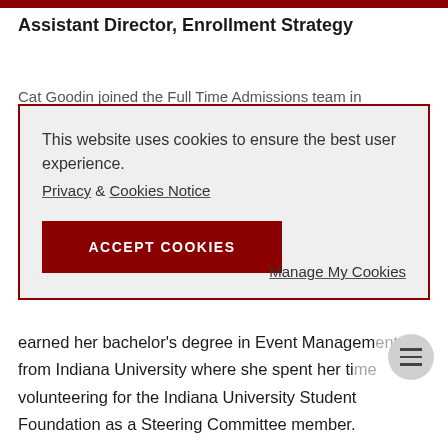Assistant Director, Enrollment Strategy
Cat Goodin joined the Full Time Admissions team in
This website uses cookies to ensure the best user experience.
Privacy & Cookies Notice
ACCEPT COOKIES
Manage My Cookies
earned her bachelor’s degree in Event Management from Indiana University where she spent her time volunteering for the Indiana University Student Foundation as a Steering Committee member.